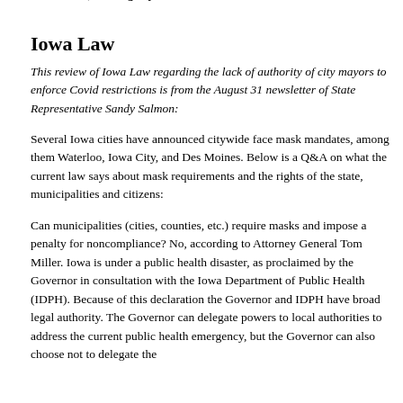me otherwise, my trust in the protective capacity of masks is rather law, forcing my trust in God to rise.
Iowa Law
This review of Iowa Law regarding the lack of authority of city mayors to enforce Covid restrictions is from the August 31 newsletter of State Representative Sandy Salmon:
Several Iowa cities have announced citywide face mask mandates, among them Waterloo, Iowa City, and Des Moines. Below is a Q&A on what the current law says about mask requirements and the rights of the state, municipalities and citizens:
Can municipalities (cities, counties, etc.) require masks and impose a penalty for noncompliance? No, according to Attorney General Tom Miller. Iowa is under a public health disaster, as proclaimed by the Governor in consultation with the Iowa Department of Public Health (IDPH). Because of this declaration the Governor and IDPH have broad legal authority. The Governor can delegate powers to local authorities to address the current public health emergency, but the Governor can also choose not to delegate the